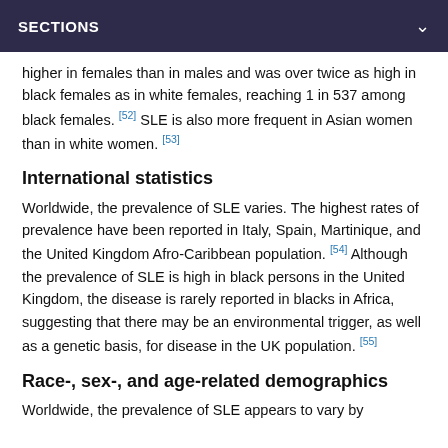SECTIONS
higher in females than in males and was over twice as high in black females as in white females, reaching 1 in 537 among black females. [52] SLE is also more frequent in Asian women than in white women. [53]
International statistics
Worldwide, the prevalence of SLE varies. The highest rates of prevalence have been reported in Italy, Spain, Martinique, and the United Kingdom Afro-Caribbean population. [54] Although the prevalence of SLE is high in black persons in the United Kingdom, the disease is rarely reported in blacks in Africa, suggesting that there may be an environmental trigger, as well as a genetic basis, for disease in the UK population. [55]
Race-, sex-, and age-related demographics
Worldwide, the prevalence of SLE appears to vary by